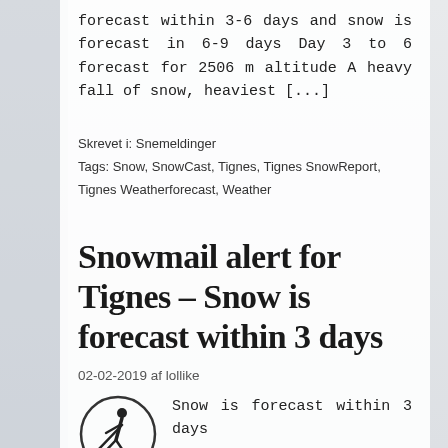forecast within 3-6 days and snow is forecast in 6-9 days Day 3 to 6 forecast for 2506 m altitude A heavy fall of snow, heaviest [...]
Skrevet i: Snemeldinger
Tags: Snow, SnowCast, Tignes, Tignes SnowReport, Tignes Weatherforecast, Weather
Snowmail alert for Tignes – Snow is forecast within 3 days
02-02-2019 af lollike
Snow is forecast within 3 days